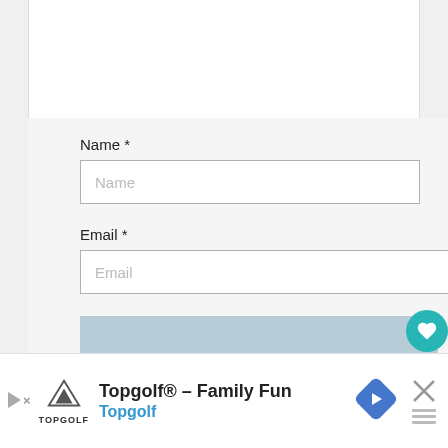Name *
[Figure (screenshot): Name input field with placeholder text 'Name']
Email *
[Figure (screenshot): Email input field with placeholder text 'Email']
COMMENT
[Figure (infographic): Topgolf Family Fun advertisement banner with play button, Topgolf logo, navigation arrow icon, close button, and share icon]